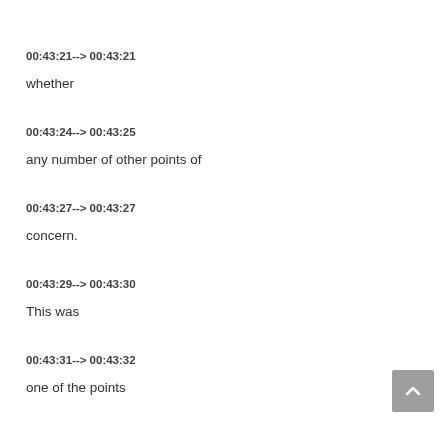00:43:21--> 00:43:21
whether
00:43:24--> 00:43:25
any number of other points of
00:43:27--> 00:43:27
concern.
00:43:29--> 00:43:30
This was
00:43:31--> 00:43:32
one of the points